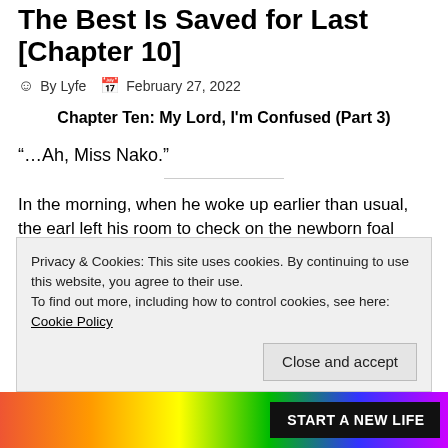The Best Is Saved for Last [Chapter 10]
By Lyfe   February 27, 2022
Chapter Ten: My Lord, I'm Confused (Part 3)
“…Ah, Miss Nako.”
In the morning, when he woke up earlier than usual, the earl left his room to check on the newborn foal reported yesterday.
He tilted ... m. His
Privacy & Cookies: This site uses cookies. By continuing to use this website, you agree to their use.
To find out more, including how to control cookies, see here: Cookie Policy
Close and accept
[Figure (advertisement): Colorful advertisement banner with text START A NEW LIFE]